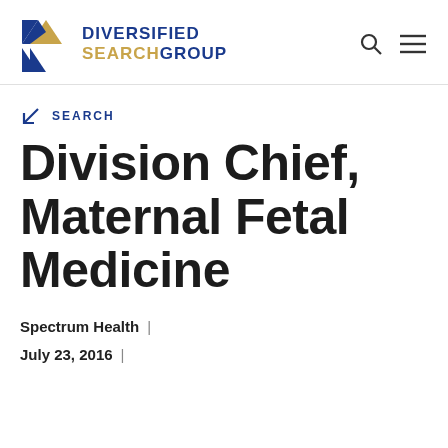DIVERSIFIED SEARCH GROUP
SEARCH
Division Chief, Maternal Fetal Medicine
Spectrum Health  |
July 23, 2016  |